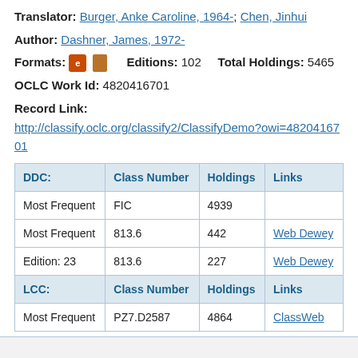Translator: Burger, Anke Caroline, 1964-; Chen, Jinhui
Author: Dashner, James, 1972-
Formats: [e-book icon] [book icon]   Editions: 102   Total Holdings: 5465
OCLC Work Id: 4820416701
Record Link:
http://classify.oclc.org/classify2/ClassifyDemo?owi=4820416701
| DDC: | Class Number | Holdings | Links |
| --- | --- | --- | --- |
| Most Frequent | FIC | 4939 |  |
| Most Frequent | 813.6 | 442 | Web Dewey |
| Edition: 23 | 813.6 | 227 | Web Dewey |
| LCC: | Class Number | Holdings | Links |
| Most Frequent | PZ7.D2587 | 4864 | ClassWeb |